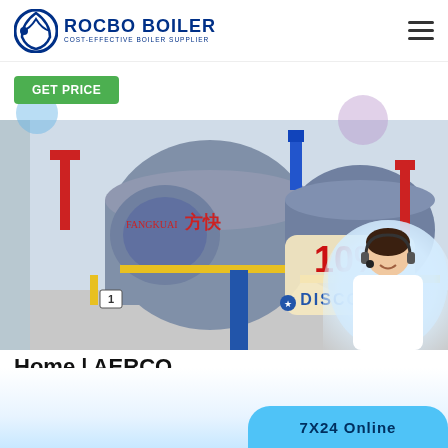[Figure (logo): Rocbo Boiler logo with circular icon and text 'ROCBO BOILER / COST-EFFECTIVE BOILER SUPPLIER']
Get Price
[Figure (photo): Industrial boilers in a facility with red, yellow, blue piping, Chinese text on boiler, and a 10% DISCOUNT badge overlay with customer service representative]
Home | AERCO
7X24 Online